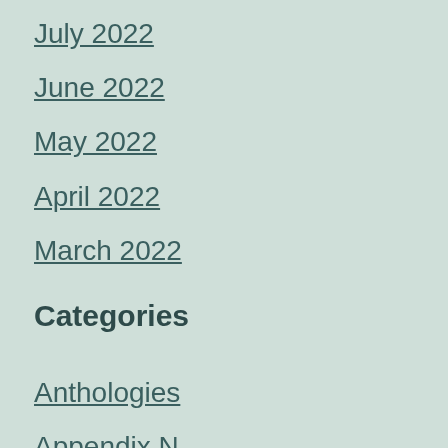July 2022
June 2022
May 2022
April 2022
March 2022
Categories
Anthologies
Appendix N
Authors
Beer
Business of Writing
Conventions